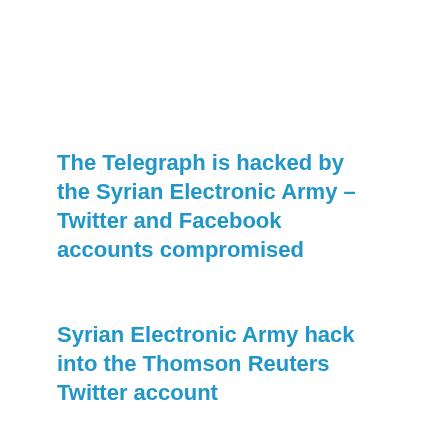The Telegraph is hacked by the Syrian Electronic Army – Twitter and Facebook accounts compromised
Syrian Electronic Army hack into the Thomson Reuters Twitter account